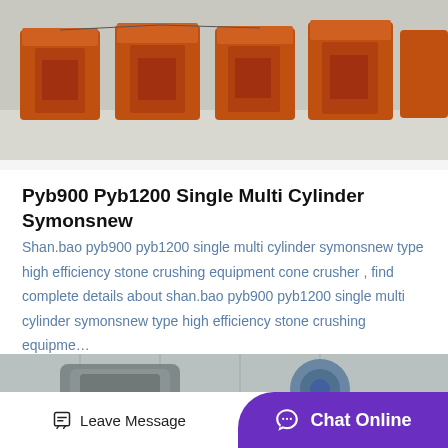[Figure (photo): Orange/rust-colored industrial cone crusher equipment units parked on a concrete floor in a warehouse or yard setting.]
Pyb900 Pyb1200 Single Multi Cylinder Symonsnew
Shan.bao pyb900 pyb1200 single multi cylinder symonsnew type high efficiency stone crushing equipment cone crusher , find complete details about shan.bao pyb900 pyb1200 single multi cylinder symonsnew type high efficiency stone crushing equipme…
[Figure (photo): Gray industrial stone crushing or milling equipment partially visible at bottom of page.]
Leave Message
Chat Online